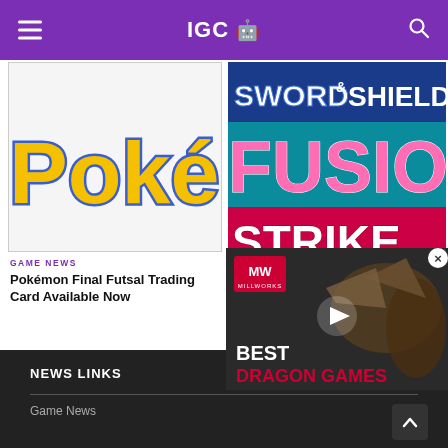IGC
[Figure (screenshot): Pokémon logo in yellow and blue on white background]
GAME NEWS
Pokémon Final Futsal Trading Card Available Now
[Figure (screenshot): Pokémon Sword & Shield Fusion Strike logo on teal/pink background]
GAME NEWS
Pokémon Sword & Shield Fusion Strike Launches
[Figure (screenshot): Ad video overlay: Best Dragon Games with dragon creature image and MW logo]
NEWS LINKS
Game News